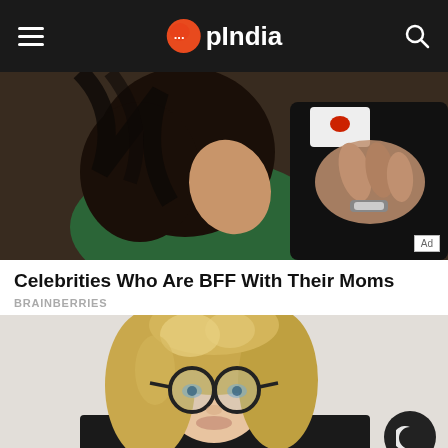OpIndia
[Figure (photo): Advertisement photo showing two people, an older woman with dark hair looking up and a man in a dark suit, in an intimate or emotional pose.]
Celebrities Who Are BFF With Their Moms
BRAINBERRIES
[Figure (photo): Photo of a young blonde woman wearing black-framed glasses, with long hair, looking toward camera, light background.]